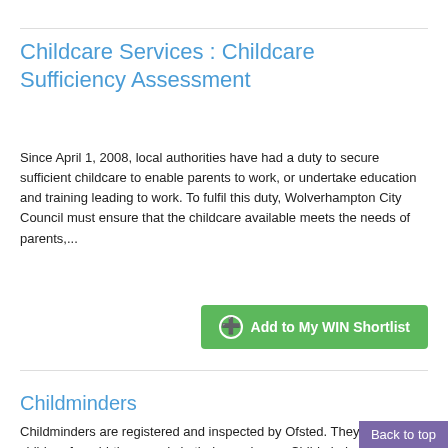Childcare Services : Childcare Sufficiency Assessment
Since April 1, 2008, local authorities have had a duty to secure sufficient childcare to enable parents to work, or undertake education and training leading to work. To fulfil this duty, Wolverhampton City Council must ensure that the childcare available meets the needs of parents,...
Childminders
Childminders are registered and inspected by Ofsted. They care for children from birth upwards in their own home. Childminders will have completed a six month part-time training course before starting